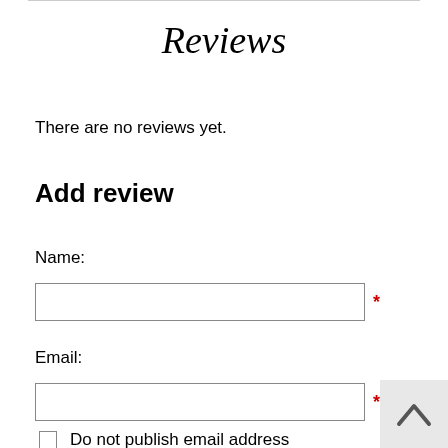Reviews
There are no reviews yet.
Add review
Name:
Email:
Do not publish email address